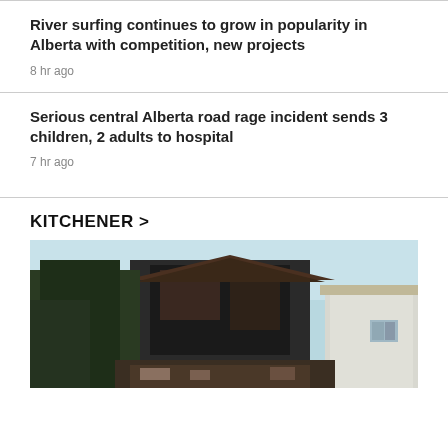River surfing continues to grow in popularity in Alberta with competition, new projects
8 hr ago
Serious central Alberta road rage incident sends 3 children, 2 adults to hospital
7 hr ago
KITCHENER >
[Figure (photo): Photo of a fire-damaged building exterior, showing charred structure with trees on the left and a white building on the right, against a light sky.]